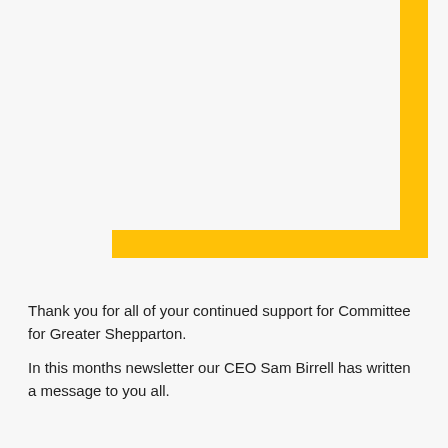[Figure (illustration): A large golden/yellow L-shaped bracket graphic in the upper-right area of the page. A thick vertical bar runs down the right side, and a thick horizontal bar runs along the bottom of the bracket, forming an inverted-L or corner bracket shape.]
Thank you for all of your continued support for Committee for Greater Shepparton.
In this months newsletter our CEO Sam Birrell has written a message to you all.